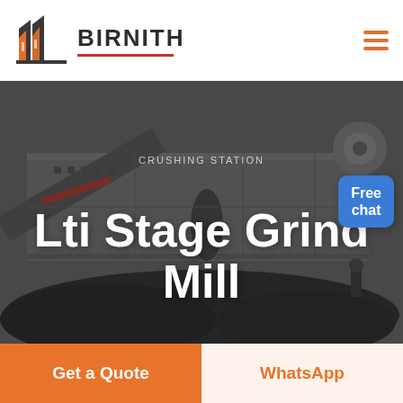[Figure (logo): Birnith company logo with orange/red building icon and BIRNITH text with red underline]
[Figure (photo): Industrial crushing station machinery photograph with dark overlay, showing heavy equipment and coal/aggregate material]
Lti Stage Grind Mill
Free chat
Get a Quote
WhatsApp